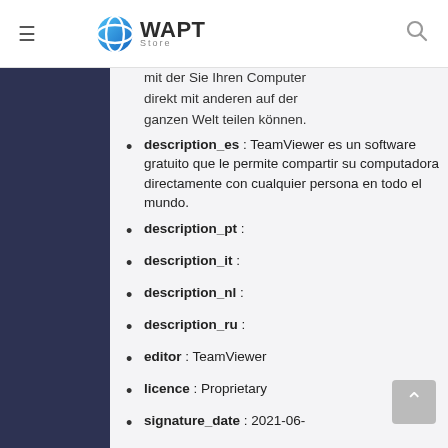WAPT Store
mit der Sie Ihren Computer direkt mit anderen auf der ganzen Welt teilen können.
description_es : TeamViewer es un software gratuito que le permite compartir su computadora directamente con cualquier persona en todo el mundo.
description_pt :
description_it :
description_nl :
description_ru :
editor : TeamViewer
licence : Proprietary
signature_date : 2021-06-